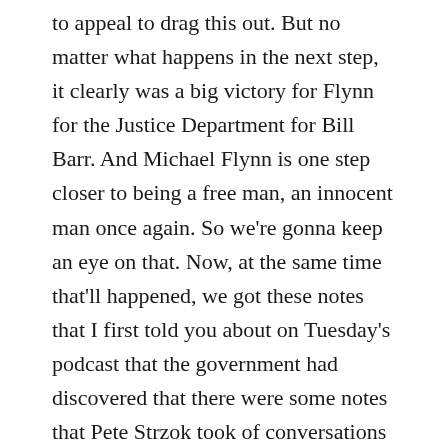to appeal to drag this out. But no matter what happens in the next step, it clearly was a big victory for Flynn for the Justice Department for Bill Barr. And Michael Flynn is one step closer to being a free man, an innocent man once again. So we're gonna keep an eye on that. Now, at the same time that'll happened, we got these notes that I first told you about on Tuesday's podcast that the government had discovered that there were some notes that Pete Strzok took of conversations affecting Flynn in the January 3 to January 5, 2017 timeframe. That was a very, very crucial time in the Russia collusion investigation. Because it was that weekend, those three days it was two weeks before Trump took